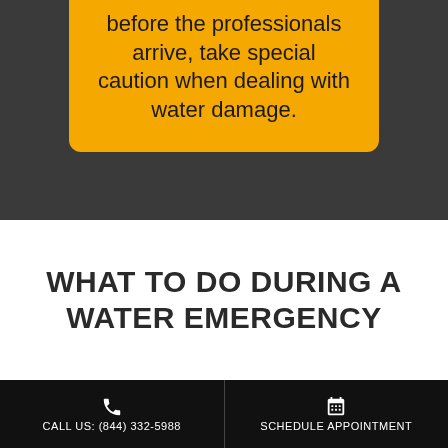before the professionals arrive, take special caution when dealing with water damage.
WHAT TO DO DURING A WATER EMERGENCY
WHAT TO DO
Call Us: (844) 332-5988 | SCHEDULE APPOINTMENT